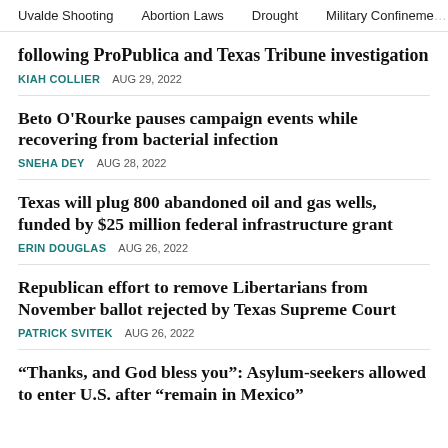Uvalde Shooting    Abortion Laws    Drought    Military Confinement
following ProPublica and Texas Tribune investigation
KIAH COLLIER    AUG 29, 2022
Beto O'Rourke pauses campaign events while recovering from bacterial infection
SNEHA DEY    AUG 28, 2022
Texas will plug 800 abandoned oil and gas wells, funded by $25 million federal infrastructure grant
ERIN DOUGLAS    AUG 26, 2022
Republican effort to remove Libertarians from November ballot rejected by Texas Supreme Court
PATRICK SVITEK    AUG 26, 2022
“Thanks, and God bless you”: Asylum-seekers allowed to enter U.S. after “remain in Mexico”